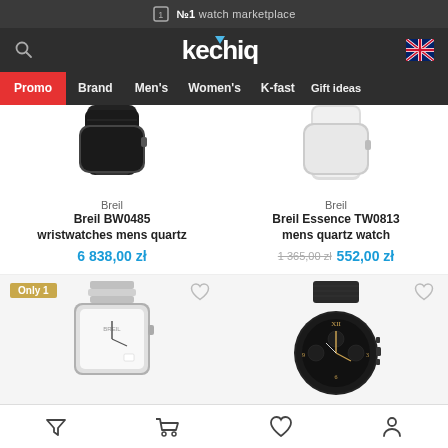№1 watch marketplace
[Figure (screenshot): Kechiq watch marketplace website screenshot showing logo, navigation bar with Promo, Brand, Men's, Women's, K-fast, Gift ideas, and product listings for Breil watches]
Breil
Breil BW0485 wristwatches mens quartz
6 838,00 zł
Breil
Breil Essence TW0813 mens quartz watch
1 365,00 zł  552,00 zł